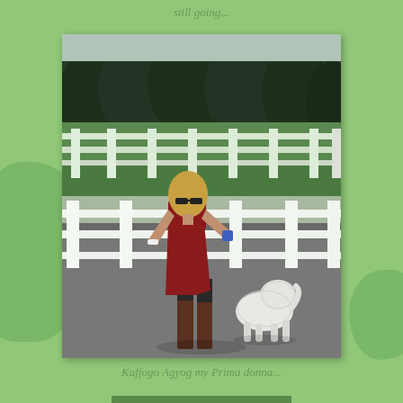still going...
[Figure (photo): A woman in a red sleeveless dress and brown knee-high boots, wearing sunglasses, walking a small white fluffy dog. They are on a gravel path next to a white wooden fence. Trees and green grass are visible in the background. The woman has her arms slightly out and is mid-stride.]
Kaffogo Agyog my Prima donna...